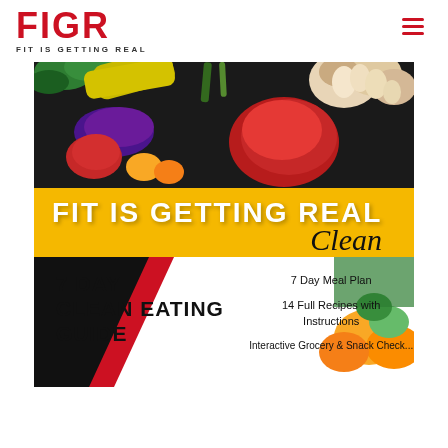FIGR FIT IS GETTING REAL
[Figure (photo): Colorful fresh vegetables including peppers, garlic, zucchini, and eggplant arranged together as a hero banner image]
FIT IS GETTING REAL Clean
7 DAY CLEAN EATING GUIDE
7 Day Meal Plan
14 Full Recipes with Instructions
Interactive Grocery & Snack Check...